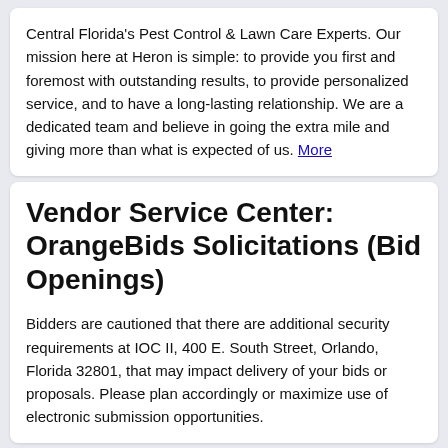Central Florida's Pest Control & Lawn Care Experts. Our mission here at Heron is simple: to provide you first and foremost with outstanding results, to provide personalized service, and to have a long-lasting relationship. We are a dedicated team and believe in going the extra mile and giving more than what is expected of us. More
Vendor Service Center: OrangeBids Solicitations (Bid Openings)
Bidders are cautioned that there are additional security requirements at IOC II, 400 E. South Street, Orlando, Florida 32801, that may impact delivery of your bids or proposals. Please plan accordingly or maximize use of electronic submission opportunities.